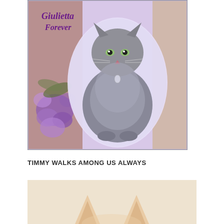[Figure (photo): Memorial image of a fluffy gray long-haired cat named Giulietta, seated in an oval vignette against a lavender background with purple flowers on the left side. Cursive text at top-left reads 'Giulietta Forever' in purple.]
TIMMY WALKS AMONG US ALWAYS
[Figure (photo): Partial photo showing a light beige/cream background with what appears to be cat ears visible at the bottom of the frame — a close-up of a light-colored cat, mostly cropped.]